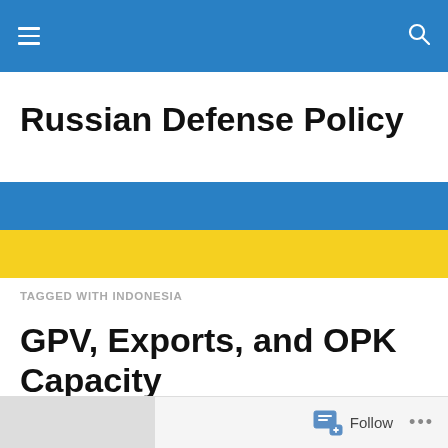Russian Defense Policy
[Figure (illustration): Ukrainian flag banner: blue stripe on top, yellow stripe on bottom]
TAGGED WITH INDONESIA
GPV, Exports, and OPK Capacity
Follow ...